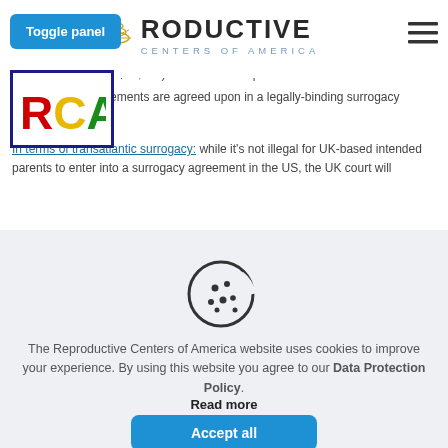[Figure (logo): Reproductive Centers of America logo with stylized sun/wheat emblem and text REPRODUCTIVE CENTERS OF AMERICA]
[Figure (logo): Small RCA logo badge with colorful letters R C A in a bordered box]
$35,000) in addition to expenses.
Financial reimbursements are agreed upon in a legally-binding surrogacy contract.
In terms of transatlantic surrogacy: while it's not illegal for UK-based intended parents to enter into a surrogacy agreement in the US, the UK court will
[Figure (illustration): Cookie icon — a round cookie with a bite taken out and chocolate chip dots]
The Reproductive Centers of America website uses cookies to improve your experience. By using this website you agree to our Data Protection Policy.
Read more
Accept all